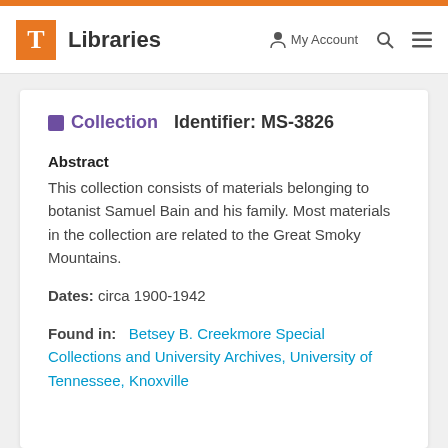T Libraries | My Account | Search | Menu
Collection   Identifier: MS-3826
Abstract
This collection consists of materials belonging to botanist Samuel Bain and his family. Most materials in the collection are related to the Great Smoky Mountains.
Dates: circa 1900-1942
Found in:   Betsey B. Creekmore Special Collections and University Archives, University of Tennessee, Knoxville